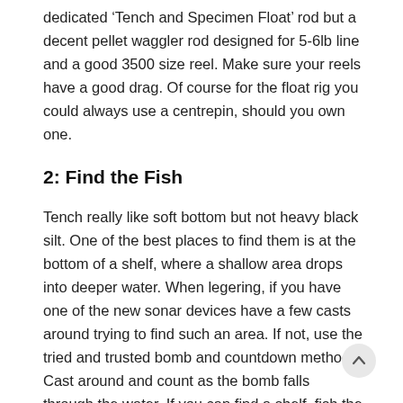dedicated ‘Tench and Specimen Float’ rod but a decent pellet waggler rod designed for 5-6lb line and a good 3500 size reel. Make sure your reels have a good drag. Of course for the float rig you could always use a centrepin, should you own one.
2: Find the Fish
Tench really like soft bottom but not heavy black silt. One of the best places to find them is at the bottom of a shelf, where a shallow area drops into deeper water. When legering, if you have one of the new sonar devices have a few casts around trying to find such an area. If not, use the tried and trusted bomb and countdown method. Cast around and count as the bomb falls through the water. If you can find a shelf, fish the bottom of it. Check out this video which will help you find the depth.
3: Change the range